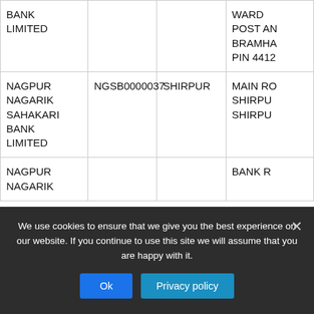| BANK NAME | IFSC CODE | BRANCH | ADDRESS |
| --- | --- | --- | --- |
| BANK LIMITED |  |  | WARD POST AN BRAMHA PIN 4412... |
| NAGPUR NAGARIK SAHAKARI BANK LIMITED | NGSB0000037 | SHIRPUR | MAIN RO SHIRPU SHIRPU |
| NAGPUR NAGARIK |  |  | BANK R... |
We use cookies to ensure that we give you the best experience on our website. If you continue to use this site we will assume that you are happy with it. Ok | Privacy policy